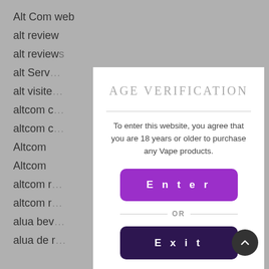Alt Com web
alt review
alt reviews
alt Serv
alt visite
altcom e
altcom e
Altcom
Altcom
altcom r
altcom r
alua bev
alua de r
AGE VERIFICATION
To enter this website, you agree that you are 18 years or older to purchase any Vape products.
Enter
OR
Exit